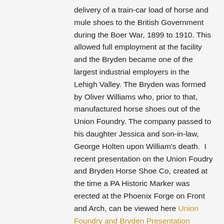delivery of a train-car load of horse and mule shoes to the British Government during the Boer War, 1899 to 1910. This allowed full employment at the facility and the Bryden became one of the largest industrial employers in the Lehigh Valley. The Bryden was formed by Oliver Williams who, prior to that, manufactured horse shoes out of the Union Foundry. The company passed to his daughter Jessica and son-in-law, George Holten upon William's death.  I recent presentation on the Union Foudry and Bryden Horse Shoe Co, created at the time a PA Historic Marker was erected at the Phoenix Forge on Front and Arch, can be viewed here Union Foundry and Bryden Presentation Rev2021.
Other iron-related industries that flourished in